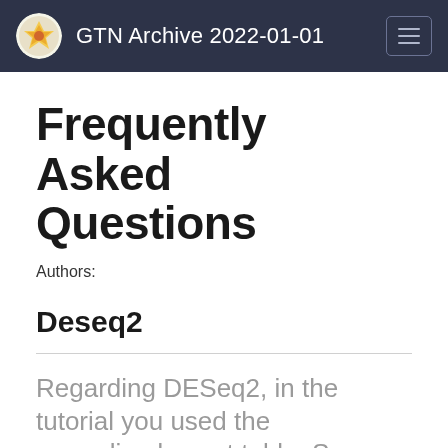GTN Archive 2022-01-01
Frequently Asked Questions
Authors:
Deseq2
Regarding DESeq2, in the tutorial you used the normalised count table. Some